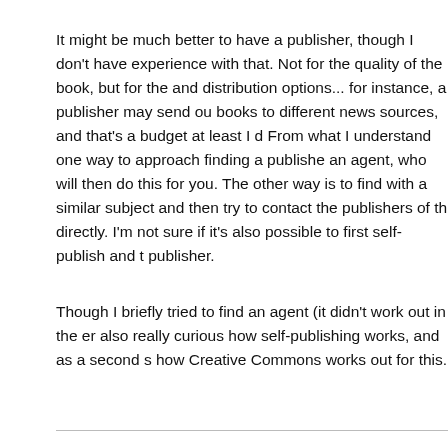It might be much better to have a publisher, though I don't have experience with that. Not for the quality of the book, but for the and distribution options... for instance, a publisher may send ou books to different news sources, and that's a budget at least I d From what I understand one way to approach finding a publishe an agent, who will then do this for you. The other way is to find with a similar subject and then try to contact the publishers of th directly. I'm not sure if it's also possible to first self-publish and t publisher.
Though I briefly tried to find an agent (it didn't work out in the er also really curious how self-publishing works, and as a second s how Creative Commons works out for this.
Martin
My experience of Lulu was much like yours: Putting together so looked good was possible, but involved a lot of hassle (I also fo chat more helpful than the forums). If I had to do it again it woul easier (now that I know all the ins and outs), but I wish Lulu wou their system and their instructions. Like you, I also found the us